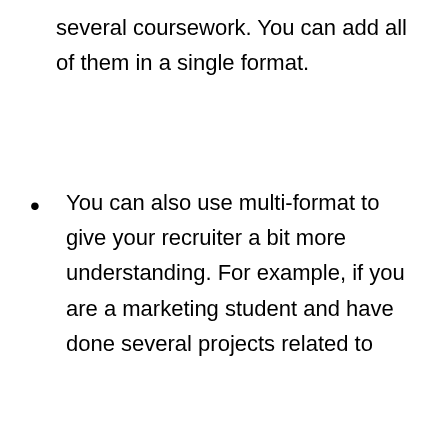several coursework. You can add all of them in a single format.
You can also use multi-format to give your recruiter a bit more understanding. For example, if you are a marketing student and have done several projects related to